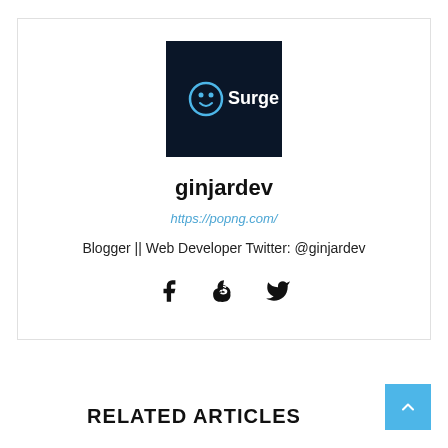[Figure (logo): Surge logo — dark navy/blue square with a circular smiley face icon and 'Surge' text in white]
ginjardev
https://popng.com/
Blogger || Web Developer Twitter: @ginjardev
[Figure (other): Social media icons: Facebook (f), Skype (S), Twitter (bird)]
[Figure (other): Light blue scroll-to-top button with upward chevron arrow]
RELATED ARTICLES